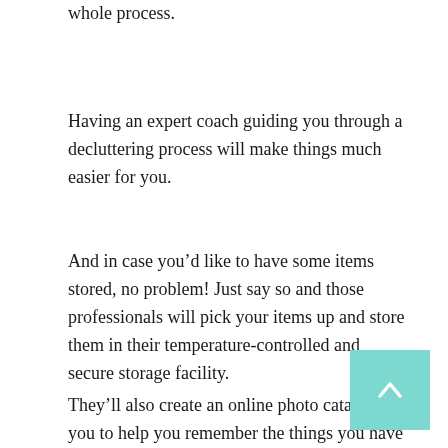whole process.
Having an expert coach guiding you through a decluttering process will make things much easier for you.
And in case you’d like to have some items stored, no problem! Just say so and those professionals will pick your items up and store them in their temperature-controlled and secure storage facility.
They’ll also create an online photo catalog for you to help you remember the things you have in storage.
[Figure (other): Teal/turquoise scroll-to-top button with upward chevron arrow, positioned at bottom right corner]